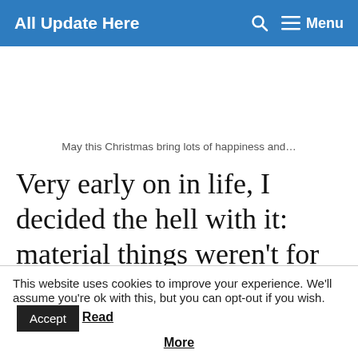All Update Here   🔍   ☰ Menu
May this Christmas bring lots of happiness and…
Very early on in life, I decided the hell with it: material things weren't for me. Christmas would come, and other kids
This website uses cookies to improve your experience. We'll assume you're ok with this, but you can opt-out if you wish. Accept Read More